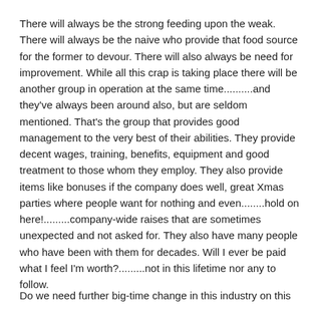There will always be the strong feeding upon the weak. There will always be the naive who provide that food source for the former to devour. There will also always be need for improvement. While all this crap is taking place there will be another group in operation at the same time..........and they've always been around also, but are seldom mentioned. That's the group that provides good management to the very best of their abilities. They provide decent wages, training, benefits, equipment and good treatment to those whom they employ. They also provide items like bonuses if the company does well, great Xmas parties where people want for nothing and even........hold on here!.........company-wide raises that are sometimes unexpected and not asked for. They also have many people who have been with them for decades. Will I ever be paid what I feel I'm worth?.........not in this lifetime nor any to follow.
Do we need further big-time change in this industry on this